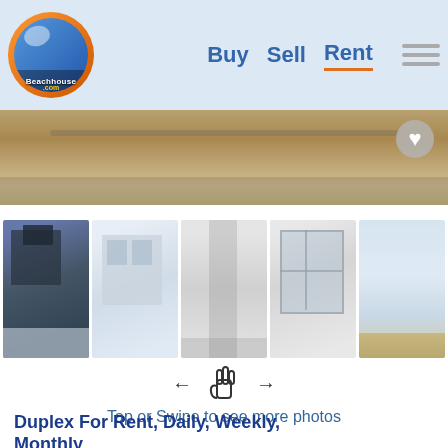Beachhouse.com — Buy  Sell  Rent
[Figure (photo): Hero banner photo of a sandy beach scene]
[Figure (photo): Row of 5 property thumbnail photos: exterior duplex, white building exterior, interior hallway, window/balcony view, beach view]
Tap or Swipe to see more photos
Duplex For Rent, Daily, Weekly, Monthly
1121 E Balboa Blvd unit B
Newport Beach, California 92661
Beachfront: Yes